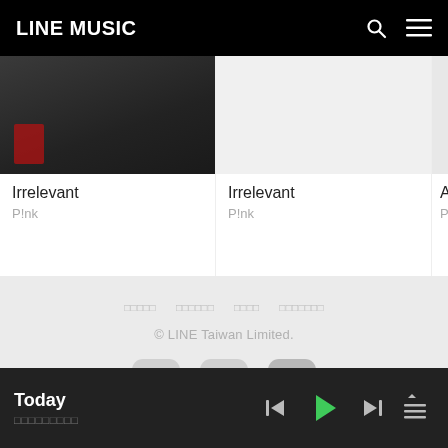LINE MUSIC
[Figure (screenshot): Album artwork thumbnail for Irrelevant by P!nk (photo, dark tones)]
Irrelevant
P!nk
[Figure (screenshot): Album artwork thumbnail for Irrelevant by P!nk (light/blank)]
Irrelevant
P!nk
[Figure (screenshot): Album artwork thumbnail for All I Know S... by P!nk (partially visible)]
All I Know S...
P!nk
© LINE Taiwan Limited.
Today